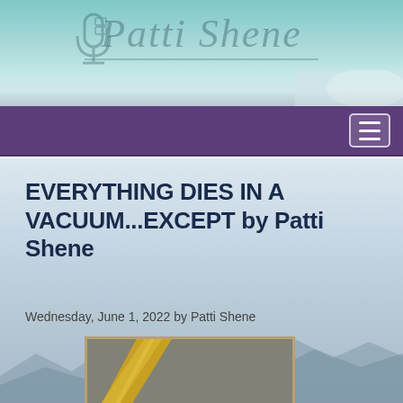[Figure (screenshot): Patti Shene website header with teal background, microphone icon, and cursive logo text 'Patti Shene' with underline]
[Figure (screenshot): Purple navigation bar with hamburger menu button on right side]
EVERYTHING DIES IN A VACUUM...EXCEPT by Patti Shene
Wednesday, June 1, 2022 by Patti Shene
[Figure (photo): Close-up photo of yellow/gold guitar string or similar diagonal stripe against blurred grey background, partially visible]